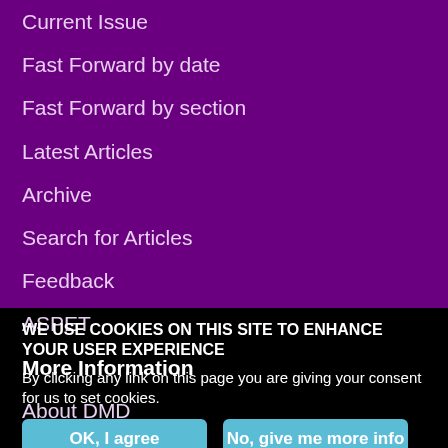Current Issue
Fast Forward by date
Fast Forward by section
Latest Articles
Archive
Search for Articles
Feedback
ASPET
More Information
About DMD
WE USE COOKIES ON THIS SITE TO ENHANCE YOUR USER EXPERIENCE
By clicking any link on this page you are giving your consent for us to set cookies.
OK, I agree
No, give me more info